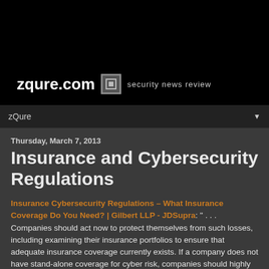[Figure (logo): zqure.com logo with square icon and tagline 'security news review' on black background]
zQure
Thursday, March 7, 2013
Insurance and Cybersecurity Regulations
Insurance Cybersecurity Regulations – What Insurance Coverage Do You Need? | Gilbert LLP - JDSupra: " . . . Companies should act now to protect themselves from such losses, including examining their insurance portfolios to ensure that adequate insurance coverage currently exists. If a company does not have stand-alone coverage for cyber risk, companies should highly consider acquiring